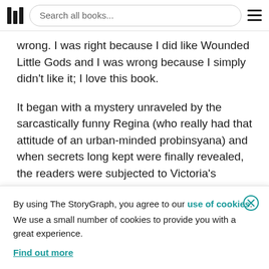Search all books...
wrong. I was right because I did like Wounded Little Gods and I was wrong because I simply didn't like it; I love this book.
It began with a mystery unraveled by the sarcastically funny Regina (who really had that attitude of an urban-minded probinsyana) and when secrets long kept were finally revealed, the readers were subjected to Victoria's incredible story-telling prowess. Her words cut
By using The StoryGraph, you agree to our use of cookies.
We use a small number of cookies to provide you with a great experience.
Find out more